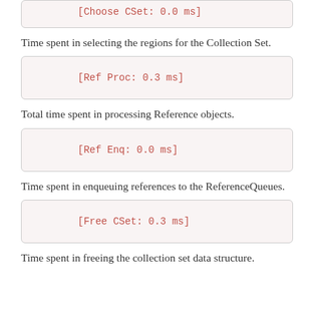[Choose CSet: 0.0 ms]
Time spent in selecting the regions for the Collection Set.
[Ref Proc: 0.3 ms]
Total time spent in processing Reference objects.
[Ref Enq: 0.0 ms]
Time spent in enqueuing references to the ReferenceQueues.
[Free CSet: 0.3 ms]
Time spent in freeing the collection set data structure.